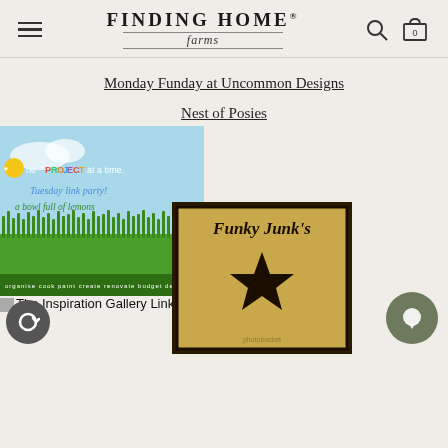Finding Home Farms
Monday Funday at Uncommon Designs
Nest of Posies
[Figure (illustration): Colorful garden-themed banner reading 'One PROJECT at a time. Tuesday link party! a bowl full of lemons' with grass illustration and tagline 'organise cook paint create renovate budget decorate']
The Inspiration Gallery Link Party
[Figure (illustration): Funky Junk's sign with a black star on a gold/tan background]